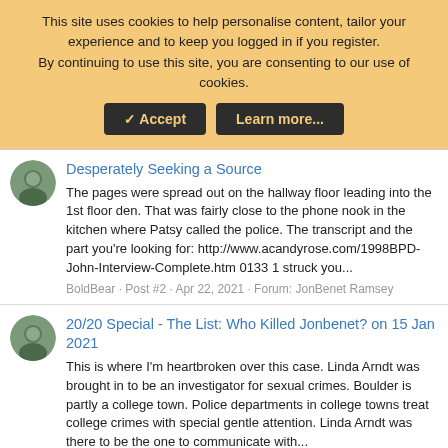This site uses cookies to help personalise content, tailor your experience and to keep you logged in if you register.
By continuing to use this site, you are consenting to our use of cookies.
[Accept] [Learn more...]
Desperately Seeking a Source
The pages were spread out on the hallway floor leading into the 1st floor den. That was fairly close to the phone nook in the kitchen where Patsy called the police. The transcript and the part you're looking for: http://www.acandyrose.com/1998BPD-John-Interview-Complete.htm 0133 1 struck you...
BoldBear · Post #2 · Apr 22, 2021 · Forum: JonBenet Ramsey
20/20 Special - The List: Who Killed Jonbenet? on 15 Jan 2021
This is where I'm heartbroken over this case. Linda Arndt was brought in to be an investigator for sexual crimes. Boulder is partly a college town. Police departments in college towns treat college crimes with special gentle attention. Linda Arndt was there to be the one to communicate with...